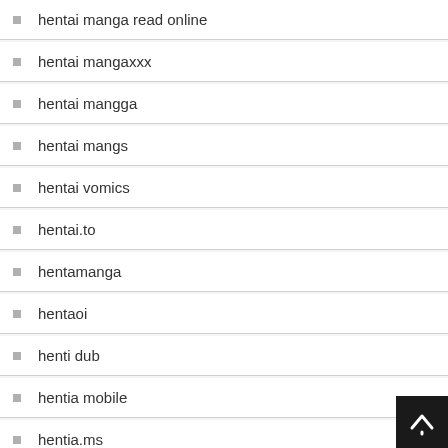hentai manga read online
hentai mangaxxx
hentai mangga
hentai mangs
hentai vomics
hentai.to
hentamanga
hentaoi
henti dub
hentia mobile
hentia.ms